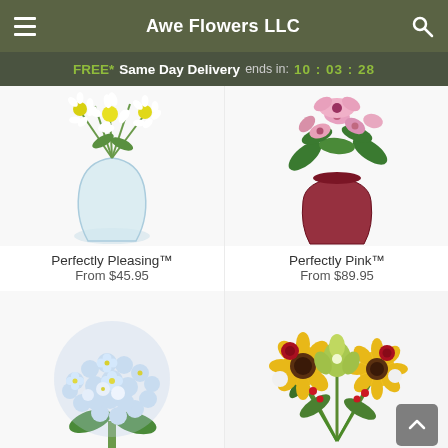Awe Flowers LLC
FREE* Same Day Delivery ends in: 10 : 03 : 28
[Figure (photo): White daisies in a clear round glass vase]
Perfectly Pleasing™
From $45.95
[Figure (photo): Pink lilies and flowers in a dark red vase]
Perfectly Pink™
From $89.95
[Figure (photo): Blue and white hydrangea bouquet]
[Figure (photo): Sunflowers, roses, and orchids mixed bouquet]